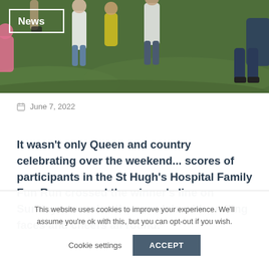[Figure (photo): Outdoor photo of children and adults running on grass, partially visible at top of page. A white-bordered 'News' badge is overlaid on the image.]
June 7, 2022
It wasn't only Queen and country celebrating over the weekend... scores of participants in the St Hugh's Hospital Family Fun Run crossed the winner's line on Sunday to receive their medals with smiling faces and cheers all round.
This website uses cookies to improve your experience. We'll assume you're ok with this, but you can opt-out if you wish.
Cookie settings  ACCEPT